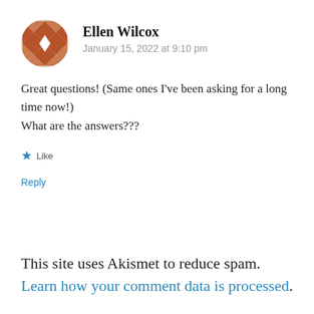[Figure (illustration): Decorative avatar icon with a red/brown geometric diamond/checkerboard pattern, circular shape]
Ellen Wilcox
January 15, 2022 at 9:10 pm
Great questions!  (Same ones I've been asking for a long time now!)
What are the answers???
★ Like
Reply
This site uses Akismet to reduce spam. Learn how your comment data is processed.